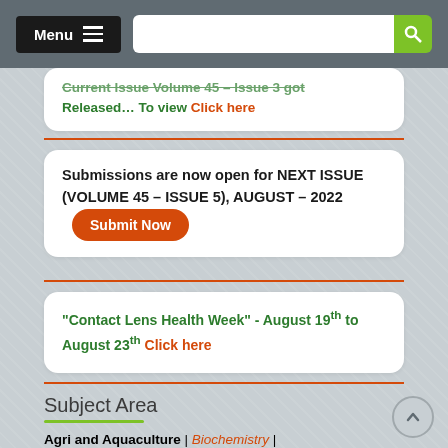Menu [search bar]
Current Issue Volume 45 - Issue 3 got Released... To view Click here
Submissions are now open for NEXT ISSUE (VOLUME 45 – ISSUE 5), AUGUST – 2022 [Submit Now]
"Contact Lens Health Week" - August 19th to August 23th Click here
Subject Area
Agri and Aquaculture | Biochemistry | Bioinformatics & Systems Biology |